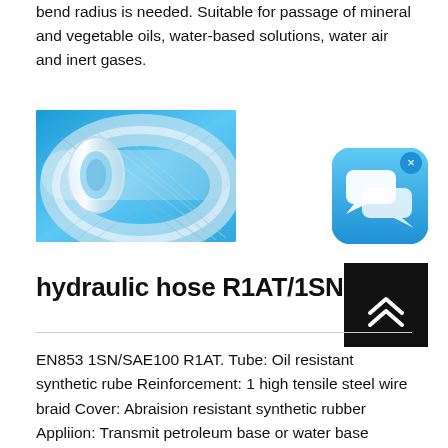bend radius is needed. Suitable for passage of mineral and vegetable oils, water-based solutions, water air and inert gases.
[Figure (photo): Close-up photo of a transparent braided flexible hose coiled against a blue background]
[Figure (other): Chat/messaging app icon with two speech bubbles on a blue rounded square background, with an X close button]
[Figure (other): Black square button with white double-chevron up arrow (scroll to top)]
hydraulic hose R1AT/1SN
EN853 1SN/SAE100 R1AT. Tube: Oil resistant synthetic rube Reinforcement: 1 high tensile steel wire braid Cover: Abraision resistant synthetic rubber Appliion: Transmit petroleum base or water base hydraulic fluid oil Safety factor: 4:1 Temperature Range: -40°C to 100°C